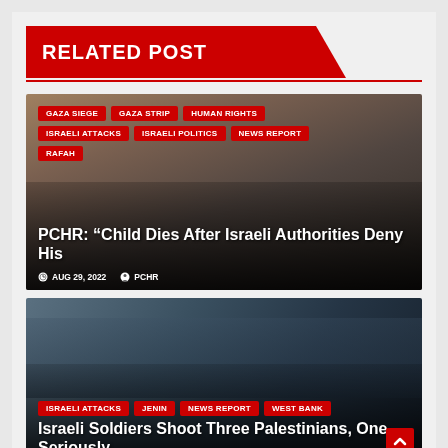RELATED POST
[Figure (photo): Close-up photo of a young child's face against a grey wall, with red category tags overlaid]
GAZA SIEGE
GAZA STRIP
HUMAN RIGHTS
ISRAELI ATTACKS
ISRAELI POLITICS
NEWS REPORT
RAFAH
PCHR: “Child Dies After Israeli Authorities Deny His
AUG 29, 2022   PCHR
[Figure (photo): Photo of Israeli soldiers in military gear in front of an armored vehicle]
ISRAELI ATTACKS
JENIN
NEWS REPORT
WEST BANK
Israeli Soldiers Shoot Three Palestinians, One Seriously